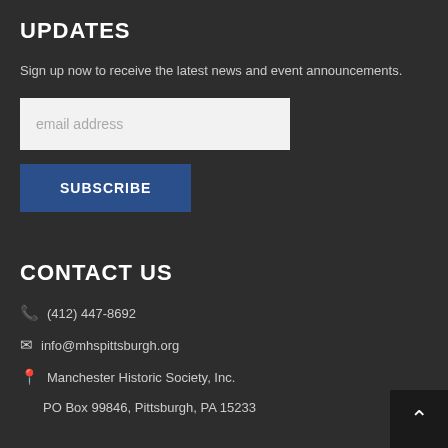UPDATES
Sign up now to receive the latest news and event announcements.
email address
SUBSCRIBE
CONTACT US
(412) 447-8692
info@mhspittsburgh.org
Manchester Historic Society, Inc.
PO Box 99846, Pittsburgh, PA 15233